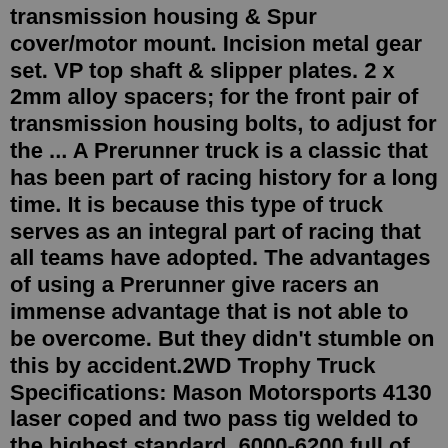transmission housing & Spur cover/motor mount. Incision metal gear set. VP top shaft & slipper plates. 2 x 2mm alloy spacers; for the front pair of transmission housing bolts, to adjust for the ... A Prerunner truck is a classic that has been part of racing history for a long time. It is because this type of truck serves as an integral part of racing that all teams have adopted. The advantages of using a Prerunner give racers an immense advantage that is not able to be overcome. But they didn't stumble on this by accident.2WD Trophy Truck Specifications: Mason Motorsports 4130 laser coped and two pass tig welded to the highest standard. 6000-6200 full of fuel ready to race depending on options. 26” Wheel travel, 3.0” coil over, 4.0” bypass, bump stop optional. Pro-am 2.5” bore 6” stroke steering rack. Pro 4WD LOORRS Chassis Transmission: (5 or 6) speed sequential Fortin or Albins Wheelbase: 115in ... Trophy Truck builder, Class1, Buggy, Pro4, Prolite, Pro2, Off ... Oct 27, 2015 · This truck has the travel & reinforcements to handle 5-7ft jumps without hang-